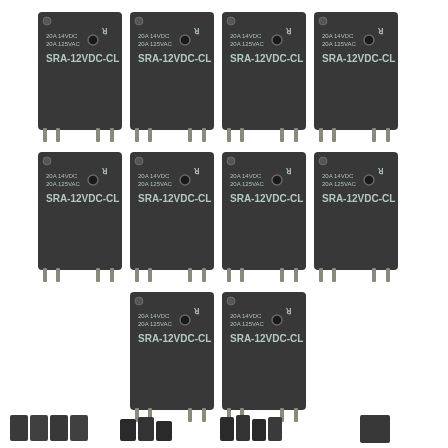[Figure (photo): Ten SRA-12VDC-CL relays arranged in a 4+4+2 grid layout, each showing the model label '20A 14VDC / 20A 125VAC / SRA-12VDC-CL' and UL certification mark. Bottom of image shows thumbnail views of the same relays from different angles.]